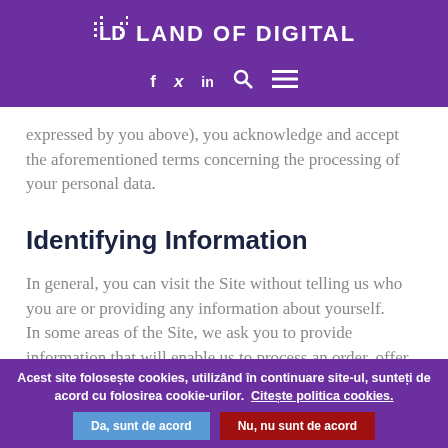LAND OF DIGITAL
expressed by you above), you acknowledge and accept the aforementioned terms concerning the processing of your personal data.
Identifying Information
In general, you can visit the Site without telling us who you are or providing any information about yourself.
In some areas of the Site, we ask you to provide information that will enable us to process an order, offer services that require registration, assist you
Acest site folosește cookies, utilizând în continuare site-ul, sunteți de acord cu folosirea cookie-urilor. Citește politica cookies. Da, sunt de acord Nu, nu sunt de acord